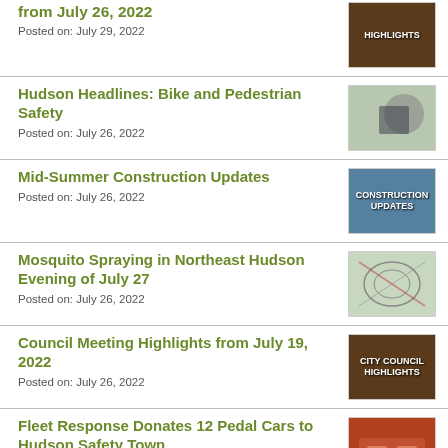from July 26, 2022
Posted on: July 29, 2022
Hudson Headlines: Bike and Pedestrian Safety
Posted on: July 26, 2022
Mid-Summer Construction Updates
Posted on: July 26, 2022
Mosquito Spraying in Northeast Hudson Evening of July 27
Posted on: July 26, 2022
Council Meeting Highlights from July 19, 2022
Posted on: July 26, 2022
Fleet Response Donates 12 Pedal Cars to Hudson Safety Town
Posted on: July 26, 2022